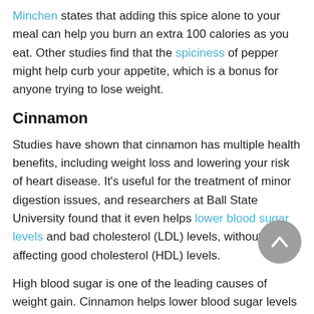Minchen states that adding this spice alone to your meal can help you burn an extra 100 calories as you eat. Other studies find that the spiciness of pepper might help curb your appetite, which is a bonus for anyone trying to lose weight.
Cinnamon
Studies have shown that cinnamon has multiple health benefits, including weight loss and lowering your risk of heart disease. It's useful for the treatment of minor digestion issues, and researchers at Ball State University found that it even helps lower blood sugar levels and bad cholesterol (LDL) levels, without affecting good cholesterol (HDL) levels.
High blood sugar is one of the leading causes of weight gain. Cinnamon helps lower blood sugar levels by acting...